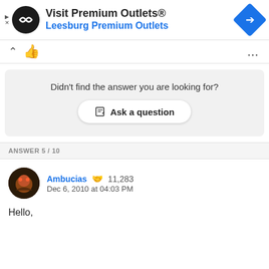[Figure (screenshot): Ad banner for Visit Premium Outlets - Leesburg Premium Outlets with logo and navigation arrow icon]
[Figure (screenshot): Voting controls: chevron up and thumbs up icons with three-dot menu]
Didn't find the answer you are looking for?
Ask a question
ANSWER 5 / 10
Ambucias  11,283
Dec 6, 2010 at 04:03 PM
Hello,